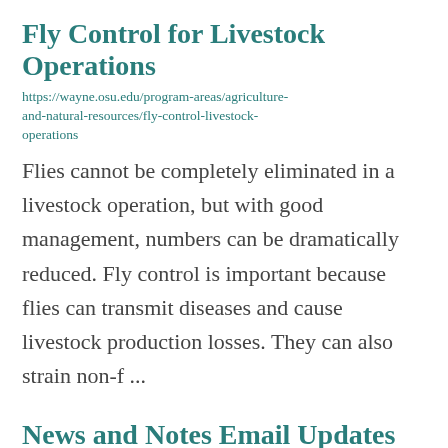Fly Control for Livestock Operations
https://wayne.osu.edu/program-areas/agriculture-and-natural-resources/fly-control-livestock-operations
Flies cannot be completely eliminated in a livestock operation, but with good management, numbers can be dramatically reduced.  Fly control is important because flies can transmit diseases and cause livestock production losses.  They can also strain non-f ...
News and Notes Email Updates
https://wayne.osu.edu/program-areas/4-h-youth-development/link-newsletter
4-H families and FFA members exhibiting